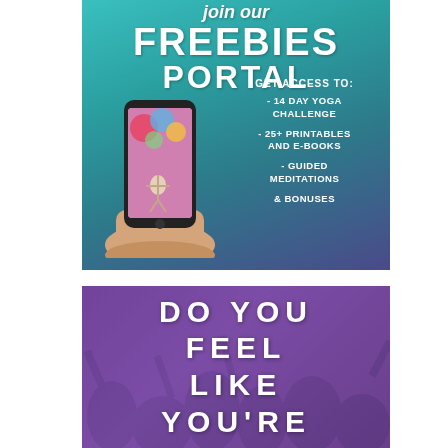[Figure (infographic): Top banner with teal-to-purple gradient background showing 'join our FREEBIES PORTAL' text with a hand holding a smartphone displaying a yoga image, and bullet list of access items: 14 DAY YOGA CHALLENGE, 25+ PRINTABLES AND E-BOOKS, GUIDED MEDITATIONS & BONUSES]
[Figure (infographic): Bottom banner with purple-overlay crowd/concert background showing large white bold text: DO YOU FEEL LIKE YOU'RE]